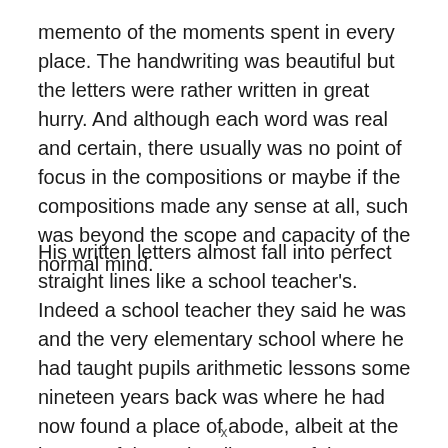memento of the moments spent in every place. The handwriting was beautiful but the letters were rather written in great hurry. And although each word was real and certain, there usually was no point of focus in the compositions or maybe if the compositions made any sense at all, such was beyond the scope and capacity of the normal mind.
His written letters almost fall into perfect straight lines like a school teacher's. Indeed a school teacher they said he was and the very elementary school where he had taught pupils arithmetic lessons some nineteen years back was where he had now found a place of abode, albeit at the bottom of the stairwell to one of the abandoned classrooms. It was remarkable that Loko never stopped
x